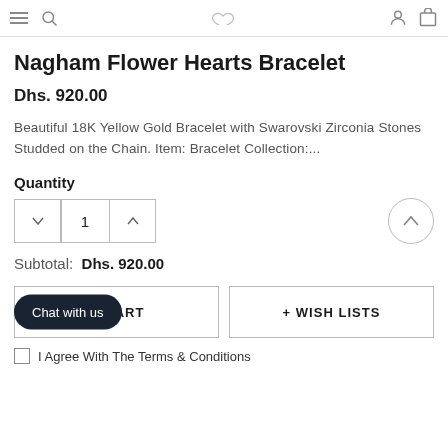Navigation bar with menu, search, wishlist, account, cart icons
Nagham Flower Hearts Bracelet
Dhs. 920.00
Beautiful 18K Yellow Gold Bracelet with Swarovski Zirconia Stones Studded on the Chain. Item: Bracelet Collection:...
Quantity
Subtotal:  Dhs. 920.00
Chat with us
O CART
+ WISH LISTS
I Agree With The Terms & Conditions